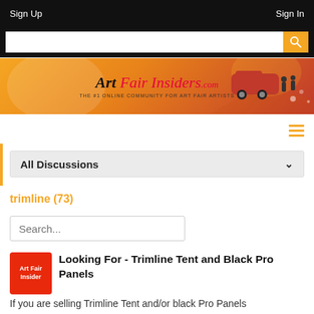Sign Up | Sign In
[Figure (logo): Art Fair Insiders logo on orange gradient banner with van graphic. Text: Art Fair Insiders.com - THE #1 ONLINE COMMUNITY FOR ART FAIR ARTISTS]
trimline (73)
Search...
Looking For - Trimline Tent and Black Pro Panels
If you are selling Trimline Tent and/or black Pro Panels